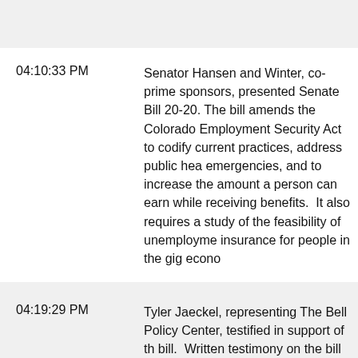04:10:33 PM — Senator Hansen and Winter, co-prime sponsors, presented Senate Bill 20-20. The bill amends the Colorado Employment Security Act to codify current practices, address public health emergencies, and to increase the amount a person can earn while receiving benefits.  It also requires a study of the feasibility of unemployment insurance for people in the gig economy
04:19:29 PM — Tyler Jaeckel, representing The Bell Policy Center, testified in support of the bill.  Written testimony on the bill can